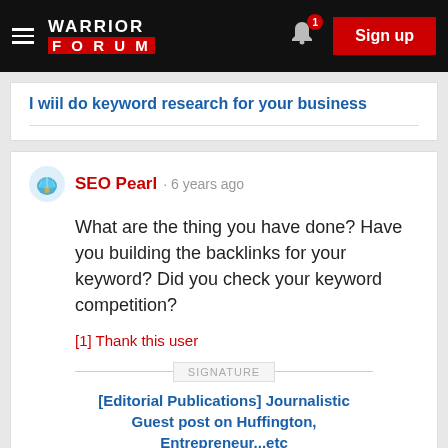Warrior Forum · Sign up
I wiil do keyword research for your business
SEO Pearl · 6 years ago
What are the thing you have done? Have you building the backlinks for your keyword? Did you check your keyword competition?
[1] Thank this user
SIGNATURE
[Editorial Publications] Journalistic Guest post on Huffington, Entrepreneur...etc